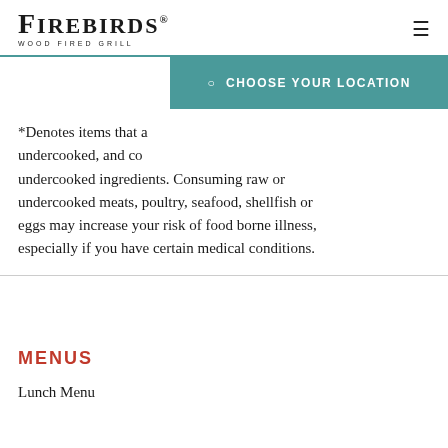FIREBIRDS WOOD FIRED GRILL
*Denotes items that are cooked to order or may be served undercooked, and consuming raw or undercooked ingredients. Consuming raw or undercooked meats, poultry, seafood, shellfish or eggs may increase your risk of food borne illness, especially if you have certain medical conditions.
MENUS
Lunch Menu